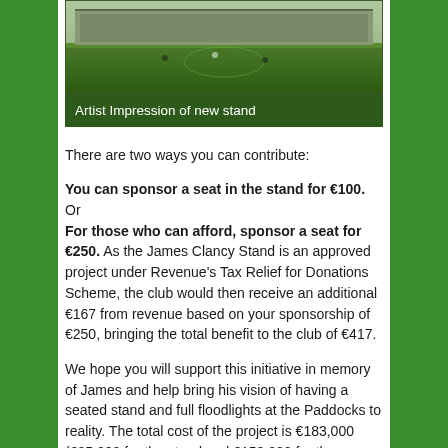[Figure (photo): An artist impression of a new stand, showing a sports ground with green grass and players visible on the pitch.]
Artist Impression of new stand
There are two ways you can contribute:
You can sponsor a seat in the stand for €100. Or For those who can afford, sponsor a seat for €250. As the James Clancy Stand is an approved project under Revenue's Tax Relief for Donations Scheme, the club would then receive an additional €167 from revenue based on your sponsorship of €250, bringing the total benefit to the club of €417.
We hope you will support this initiative in memory of James and help bring his vision of having a seated stand and full floodlights at the Paddocks to reality. The total cost of the project is €183,000 (€25,000 for the stand and €158,000 for the Floodlights). As you are already aware we received €150,000 from the